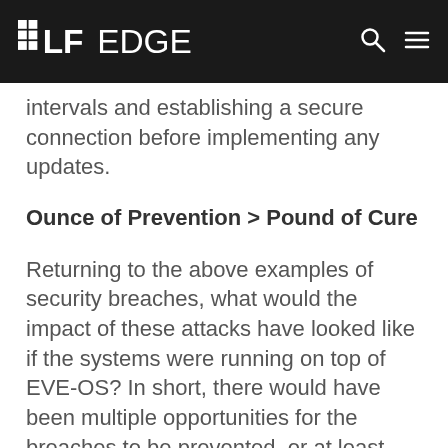LF EDGE
intervals and establishing a secure connection before implementing any updates.
Ounce of Prevention > Pound of Cure
Returning to the above examples of security breaches, what would the impact of these attacks have looked like if the systems were running on top of EVE-OS? In short, there would have been multiple opportunities for the breaches to be prevented, or at least